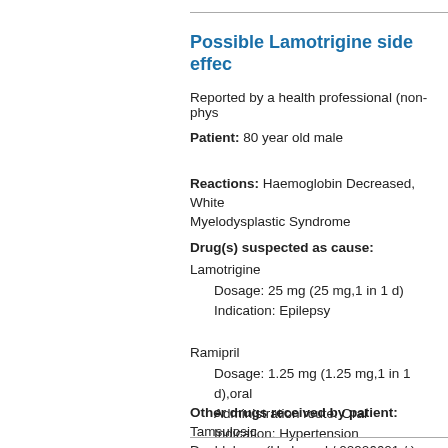Possible Lamotrigine side effec
Reported by a health professional (non-phys
Patient: 80 year old male
Reactions: Haemoglobin Decreased, White... Myelodysplastic Syndrome
Drug(s) suspected as cause:
Lamotrigine
    Dosage: 25 mg (25 mg,1 in 1 d)
    Indication: Epilepsy

Ramipril
    Dosage: 1.25 mg (1.25 mg,1 in 1 d),oral
    Administration route: Oral
    Indication: Hypertension
    Start date: 2012-01-24
Other drugs received by patient: Tamsulosine... Doublebase (Hydromol / 00906601 / ); Latam